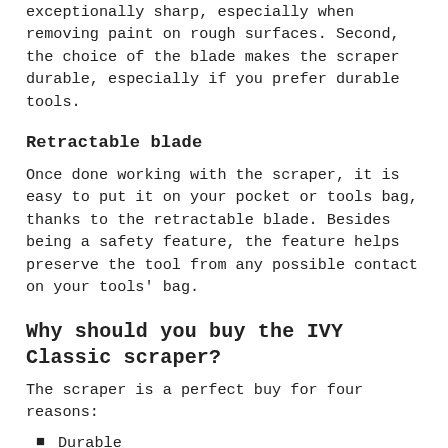two ways. First, the carbon steel blade is exceptionally sharp, especially when removing paint on rough surfaces. Second, the choice of the blade makes the scraper durable, especially if you prefer durable tools.
Retractable blade
Once done working with the scraper, it is easy to put it on your pocket or tools bag, thanks to the retractable blade. Besides being a safety feature, the feature helps preserve the tool from any possible contact on your tools' bag.
Why should you buy the IVY Classic scraper?
The scraper is a perfect buy for four reasons:
Durable